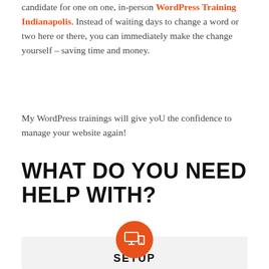candidate for one on one, in-person WordPress Training Indianapolis. Instead of waiting days to change a word or two here or there, you can immediately make the change yourself – saving time and money.
My WordPress trainings will give yoU the confidence to manage your website again!
WHAT DO YOU NEED HELP WITH?
[Figure (illustration): Orange circle icon with a computer/monitor symbol inside it, above a light gray card area]
SETUP
Do you need help setting up a website or blog?